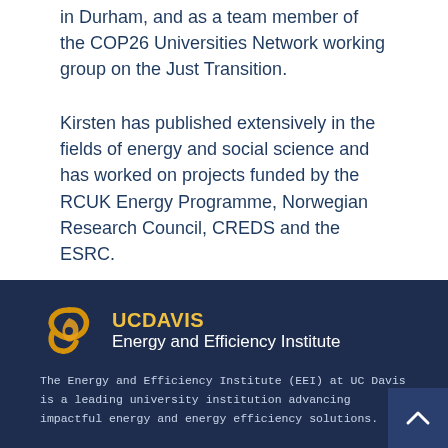in Durham, and as a team member of the COP26 Universities Network working group on the Just Transition.
Kirsten has published extensively in the fields of energy and social science and has worked on projects funded by the RCUK Energy Programme, Norwegian Research Council, CREDS and the ESRC.
[Figure (logo): UC Davis Energy and Efficiency Institute logo — yellow flame/leaf icon on the left, text 'UCDAVIS' in yellow bold and 'Energy and Efficiency Institute' in white below]
The Energy and Efficiency Institute (EEI) at UC Davis is a leading university institution advancing impactful energy and energy efficiency solutions.